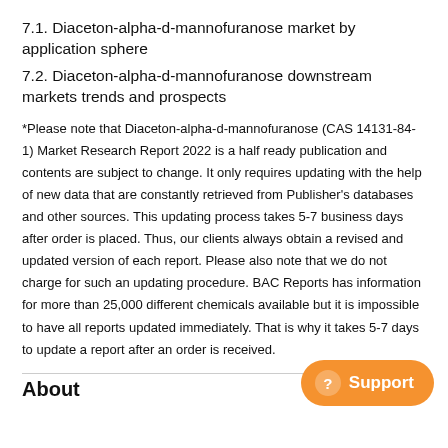7.1. Diaceton-alpha-d-mannofuranose market by application sphere
7.2. Diaceton-alpha-d-mannofuranose downstream markets trends and prospects
*Please note that Diaceton-alpha-d-mannofuranose (CAS 14131-84-1) Market Research Report 2022 is a half ready publication and contents are subject to change. It only requires updating with the help of new data that are constantly retrieved from Publisher’s databases and other sources. This updating process takes 5-7 business days after order is placed. Thus, our clients always obtain a revised and updated version of each report. Please also note that we do not charge for such an updating procedure. BAC Reports has information for more than 25,000 different chemicals available but it is impossible to have all reports updated immediately. That is why it takes 5-7 days to update a report after an order is received.
About